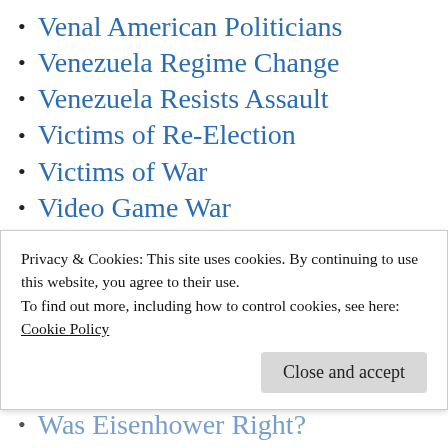Venal American Politicians
Venezuela Regime Change
Venezuela Resists Assault
Victims of Re-Election
Victims of War
Video Game War
Vietnam War Facts
Vietnam War Lies
Wake Up America
War for Profit
War Monger's Dream
Privacy & Cookies: This site uses cookies. By continuing to use this website, you agree to their use.
To find out more, including how to control cookies, see here:
Cookie Policy
Close and accept
Was Eisenhower Right?